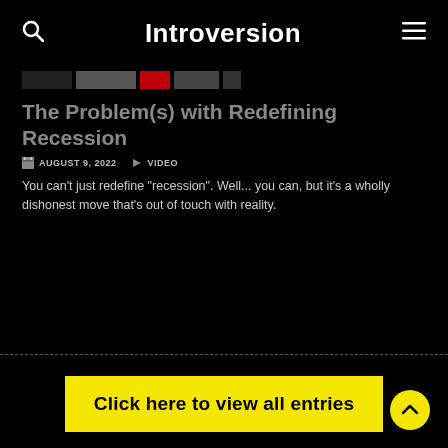Introversion
[Figure (screenshot): Thumbnail strip showing a dark video preview bar with a red element in the middle]
The Problem(s) with Redefining Recession
AUGUST 9, 2022   VIDEO
You can't just redefine "recession". Well... you can, but it's a wholly dishonest move that's out of touch with reality.
Click here to view all entries